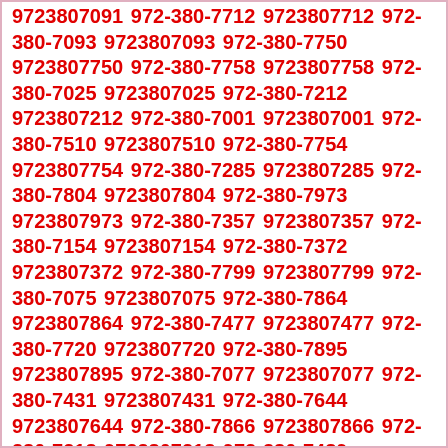9723807091 972-380-7712 9723807712 972-380-7093 9723807093 972-380-7750 9723807750 972-380-7758 9723807758 972-380-7025 9723807025 972-380-7212 9723807212 972-380-7001 9723807001 972-380-7510 9723807510 972-380-7754 9723807754 972-380-7285 9723807285 972-380-7804 9723807804 972-380-7973 9723807973 972-380-7357 9723807357 972-380-7154 9723807154 972-380-7372 9723807372 972-380-7799 9723807799 972-380-7075 9723807075 972-380-7864 9723807864 972-380-7477 9723807477 972-380-7720 9723807720 972-380-7895 9723807895 972-380-7077 9723807077 972-380-7431 9723807431 972-380-7644 9723807644 972-380-7866 9723807866 972-380-7218 9723807218 972-380-7489 9723807489 972-380-7650 9723807650 972-380-7707 9723807707 972-380-7596 9723807596 972-380-7628 9723807628 972-380-7083 9723807083 972-380-7122 9723807122 972-380-7937 9723807937 972-